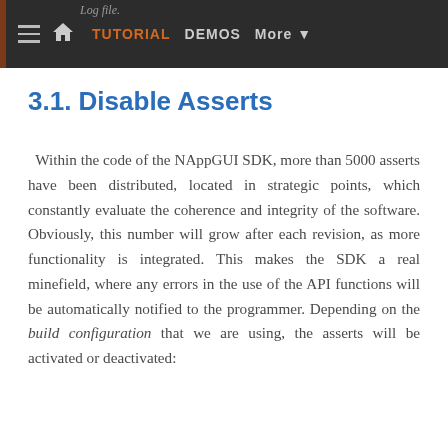Log file. TUTORIAL  DEMOS  More
3.1. Disable Asserts
Within the code of the NAppGUI SDK, more than 5000 asserts have been distributed, located in strategic points, which constantly evaluate the coherence and integrity of the software. Obviously, this number will grow after each revision, as more functionality is integrated. This makes the SDK a real minefield, where any errors in the use of the API functions will be automatically notified to the programmer. Depending on the build configuration that we are using, the asserts will be activated or deactivated: